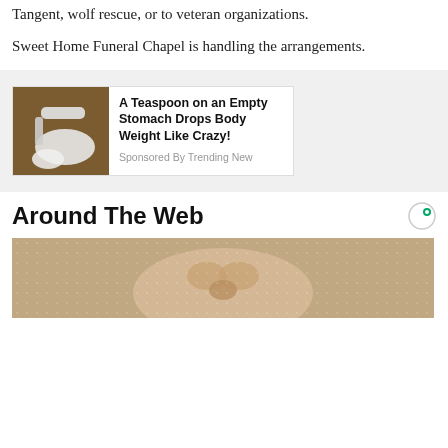Tangent, wolf rescue, or to veteran organizations.
Sweet Home Funeral Chapel is handling the arrangements.
[Figure (photo): Advertisement card with image of white powder in measuring spoon on wooden background, titled 'A Teaspoon on an Empty Stomach Drops Body Weight Like Crazy!' Sponsored By Trending New]
Around The Web
[Figure (photo): Thumbnail image of a face covered in sparkly or snowy texture, cropped at bottom of page]